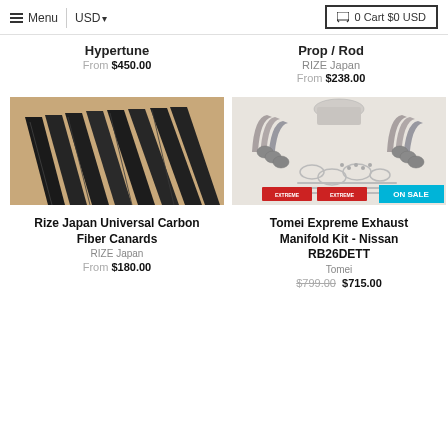Menu | USD ▼ | 0 Cart $0 USD
Hypertune
From $450.00
Prop / Rod
RIZE Japan
From $238.00
[Figure (photo): Black carbon fiber canards fanned out on a wooden surface]
Rize Japan Universal Carbon Fiber Canards
RIZE Japan
From $180.00
[Figure (photo): Tomei Expreme exhaust manifold kit parts laid out including headers, gaskets, and hardware, with ON SALE badge]
Tomei Expreme Exhaust Manifold Kit - Nissan RB26DETT
Tomei
$799.00 $715.00